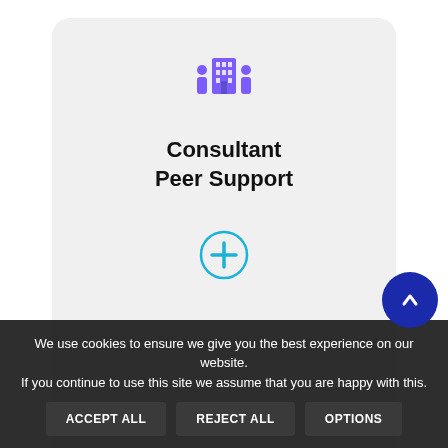[Figure (illustration): Card with building and people icon, text 'Consultant Peer Support', and a teal plus circle button]
Consultant
Peer Support
[Figure (illustration): Card with purple sparkle/stars icon and text 'FDM']
FDM
We use cookies to ensure we give you the best experience on our website. If you continue to use this site we assume that you are happy with this.